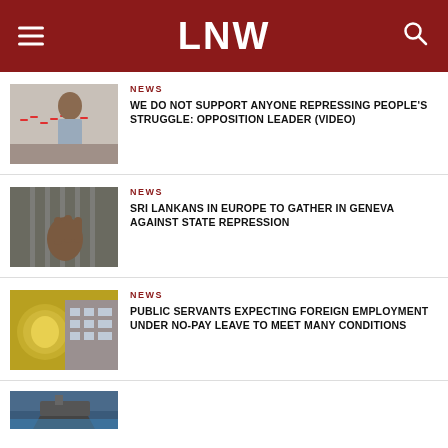LNW
NEWS
WE DO NOT SUPPORT ANYONE REPRESSING PEOPLE'S STRUGGLE: OPPOSITION LEADER (VIDEO)
NEWS
SRI LANKANS IN EUROPE TO GATHER IN GENEVA AGAINST STATE REPRESSION
NEWS
PUBLIC SERVANTS EXPECTING FOREIGN EMPLOYMENT UNDER NO-PAY LEAVE TO MEET MANY CONDITIONS